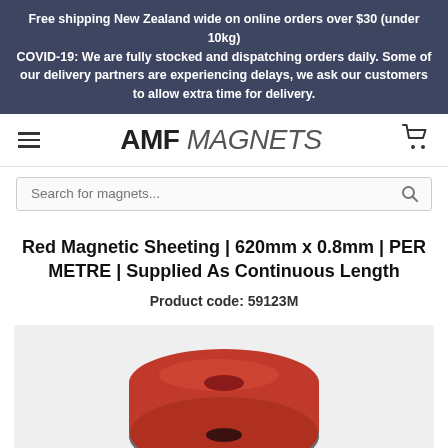Free shipping New Zealand wide on online orders over $30 (under 10kg)
COVID-19: We are fully stocked and dispatching orders daily. Some of our delivery partners are experiencing delays, we ask our customers to allow extra time for delivery.
[Figure (logo): AMF MAGNETS logo with hamburger menu icon on left and shopping cart icon on right]
[Figure (other): Search bar with placeholder text 'Search for magnets...' and magnifying glass icon]
Red Magnetic Sheeting | 620mm x 0.8mm | PER METRE | Supplied As Continuous Length
Product code: 59123M
[Figure (photo): Red magnetic sheeting roll, showing the red side on top and grey/dark side on the outer roll, partially visible at bottom of frame against a light grey background]